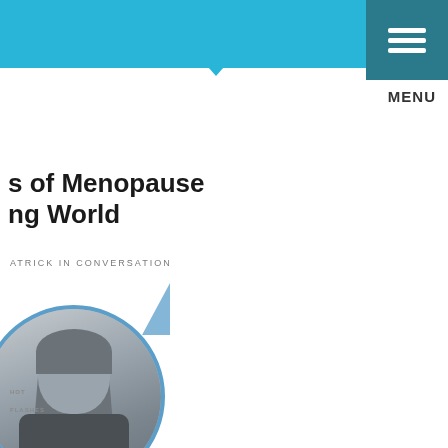s of Menopause
ng World
ATRICK IN CONVERSATION
[Figure (photo): Black and white circular headshot photo of a woman with medium-length hair, smiling, set inside a circular blue-bordered frame with a blue speech bubble tail accent]
HOT FLASHES